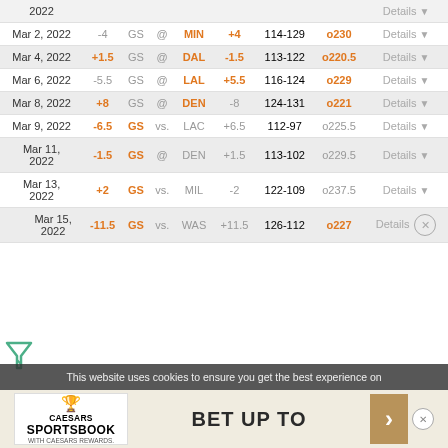| Date | Spread | Team |  | Opp | Opp Spread | Score | Total |  |
| --- | --- | --- | --- | --- | --- | --- | --- | --- |
| 2022 |  |  |  |  |  |  |  | Details |
| Mar 2, 2022 | -4 | GS | @ | MIN | +4 | 114-129 | o230 | Details |
| Mar 4, 2022 | +1.5 | GS | @ | DAL | -1.5 | 113-122 | o220.5 | Details |
| Mar 6, 2022 | -5.5 | GS | @ | LAL | +5.5 | 116-124 | o229 | Details |
| Mar 8, 2022 | +8 | GS | @ | DEN | -8 | 124-131 | o221 | Details |
| Mar 9, 2022 | -6.5 | GS | vs. | LAC | +6.5 | 112-97 | o225.5 | Details |
| Mar 11, 2022 | -1.5 | GS | @ | DEN | +1.5 | 113-102 | o229.5 | Details |
| Mar 13, 2022 | +2 | GS | vs. | MIL | -2 | 122-109 | o237.5 | Details |
| Mar 15, 2022 | -11.5 | GS | vs. | WAS | +11.5 | 126-112 | o227 | Details |
[Figure (screenshot): Caesars Sportsbook advertisement banner: BET UP TO with gold arrow]